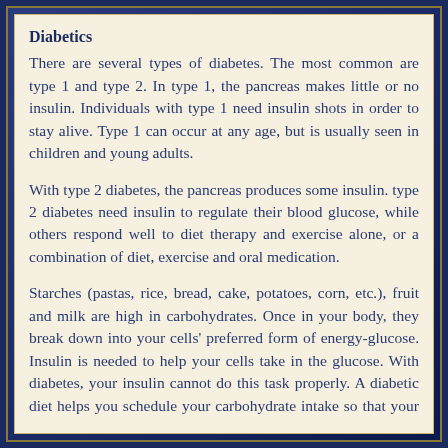Diabetics
There are several types of diabetes. The most common are type 1 and type 2. In type 1, the pancreas makes little or no insulin. Individuals with type 1 need insulin shots in order to stay alive. Type 1 can occur at any age, but is usually seen in children and young adults.
With type 2 diabetes, the pancreas produces some insulin. type 2 diabetes need insulin to regulate their blood glucose, while others respond well to diet therapy and exercise alone, or a combination of diet, exercise and oral medication.
Starches (pastas, rice, bread, cake, potatoes, corn, etc.), fruit and milk are high in carbohydrates. Once in your body, they break down into your cells' preferred form of energy-glucose. Insulin is needed to help your cells take in the glucose. With diabetes, your insulin cannot do this task properly. A diabetic diet helps you schedule your carbohydrate intake so that your cells can get the glucose that they need.
Consuming too many carbohydrate-containing foods